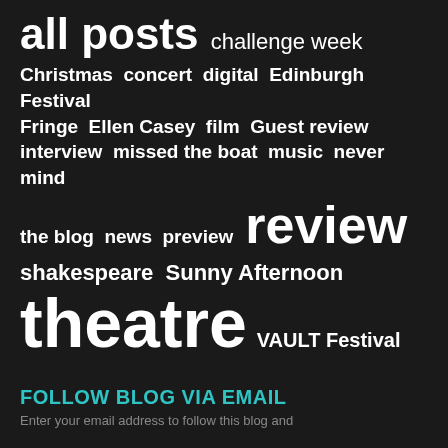[Figure (infographic): Tag cloud / word cloud on dark background showing blog post categories in varying font sizes. Tags include: all posts, challenge week, Christmas, concert, digital, Edinburgh Festival Fringe, Ellen Casey, film, Guest review, interview, missed the boat, music, never mind, the blog, news, preview, review, shakespeare, Sunny Afternoon, theatre, VAULT Festival.]
FOLLOW BLOG VIA EMAIL
Enter your email address to follow this blog and